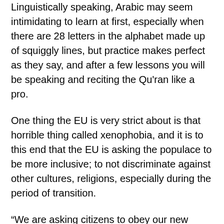Linguistically speaking, Arabic may seem intimidating to learn at first, especially when there are 28 letters in the alphabet made up of squiggly lines, but practice makes perfect as they say, and after a few lessons you will be speaking and reciting the Qu'ran like a pro.
One thing the EU is very strict about is that horrible thing called xenophobia, and it is to this end that the EU is asking the populace to be more inclusive; to not discriminate against other cultures, religions, especially during the period of transition.
“We are asking citizens to obey our new directives to learn Arabic. From now on all citizens within the EU must adhere to this ruling, as Arabic is a requirement at all levels of education and business, as well as entertainment,” Hans Gertvinters, an MEP for the Netherlands told Euronews.